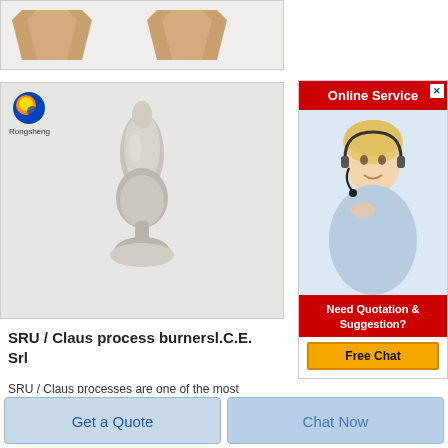[Figure (photo): Top strip showing partial product images - brown box-shaped ceramic/refractory items on light background]
[Figure (photo): Product photo: a white/grey elongated flame-shaped ceramic burner on a round base, shown against light grey background, with Rongsheng logo in top left corner]
SRU / Claus process burnersl.C.E. Srl
SRU / Claus processes are one of the most important/critical issues for
[Figure (infographic): Online Service advertisement panel: red header with 'Online Service' text and X close button, photo of smiling female customer service agent with headset, red footer saying 'Need Quotation & Suggestion?' with gold 'Free Chat' button]
Get a Quote
Chat Now